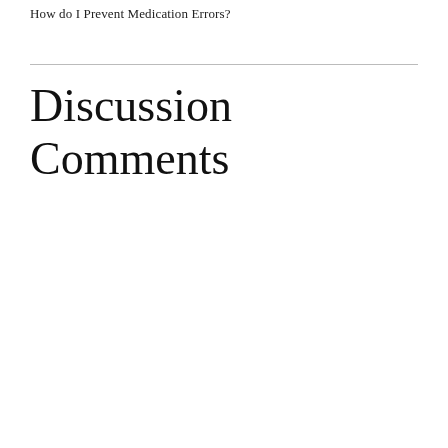How do I Prevent Medication Errors?
Discussion Comments